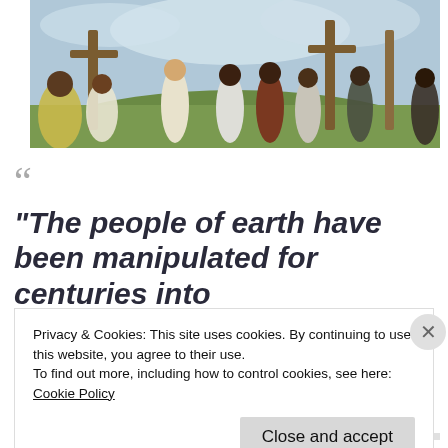[Figure (photo): A scene with people dressed in historical/biblical robes standing outdoors near wooden posts, with a grassy hillside and cloudy sky in the background.]
““
“The people of earth have been manipulated for centuries into
Privacy & Cookies: This site uses cookies. By continuing to use this website, you agree to their use.
To find out more, including how to control cookies, see here: Cookie Policy
Close and accept